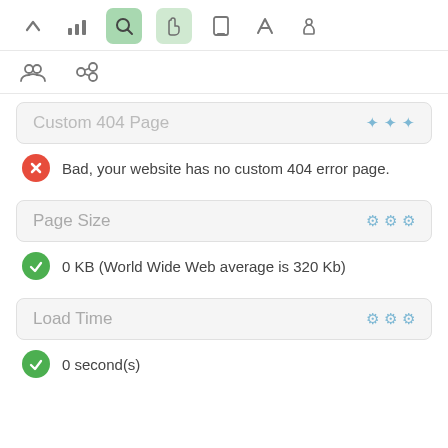[Figure (screenshot): Top navigation toolbar with icons: chevron up, bar chart, magnifying glass (active green), hand/cursor (active light green), mobile phone, rocket/send, thumbs up]
[Figure (screenshot): Second toolbar row with people/group icon and chain link icon]
Custom 404 Page
Bad, your website has no custom 404 error page.
Page Size
0 KB (World Wide Web average is 320 Kb)
Load Time
0 second(s)